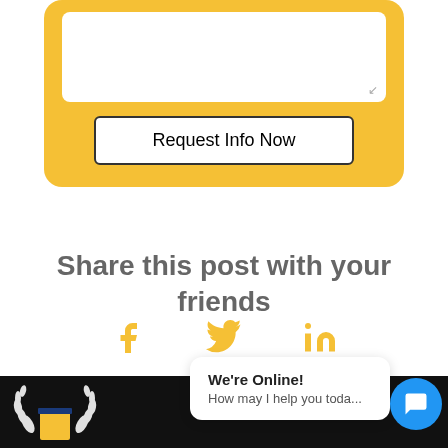[Figure (screenshot): Yellow card with a white textarea and a 'Request Info Now' button]
Share this post with your friends
[Figure (infographic): Social share icons: Facebook, Twitter, LinkedIn in gold/yellow color]
[Figure (screenshot): Black footer bar with partial logo visible]
We're Online! How may I help you toda...